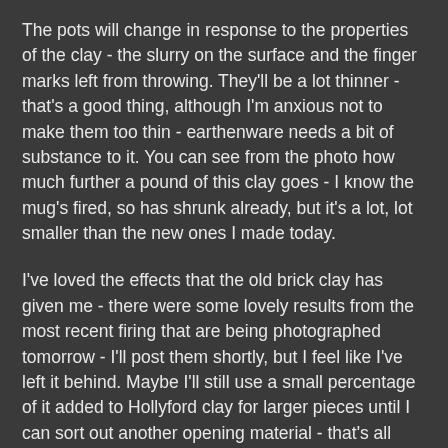The pots will change in response to the properties of the clay - the slurry on the surface and the finger marks left from throwing. They'll be a lot thinner - that's a good thing, although I'm anxious not to make them too thin - earthenware needs a bit of substance to it. You can see from the photo how much further a pound of this clay goes - I know the mug's fired, so has shrunk already, but it's a lot, lot smaller than the new ones I made today.
I've loved the effects that the old brick clay has given me - there were some lovely results from the most recent firing that are being photographed tomorrow - I'll post them shortly, but I feel like I've left it behind. Maybe I'll still use a small percentage of it added to Hollyford clay for larger pieces until I can sort out another opening material - that's all academic as I still have to process enough to make the larger pieces, so only time will tell.
Well I've rambled enough, so I'll sign out and leave you with